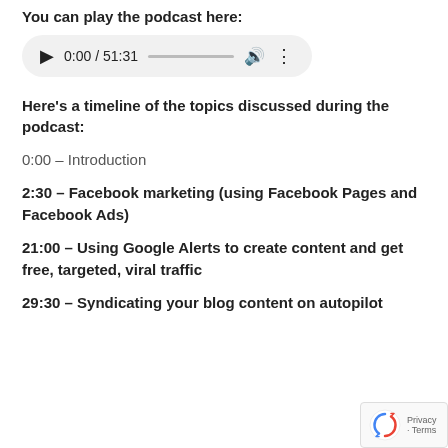You can play the podcast here:
[Figure (other): Audio player widget showing play button, time 0:00 / 51:31, progress bar, volume and more options buttons]
Here’s a timeline of the topics discussed during the podcast:
0:00 – Introduction
2:30 – Facebook marketing (using Facebook Pages and Facebook Ads)
21:00 – Using Google Alerts to create content and get free, targeted, viral traffic
29:30 – Syndicating your blog content on autopilot